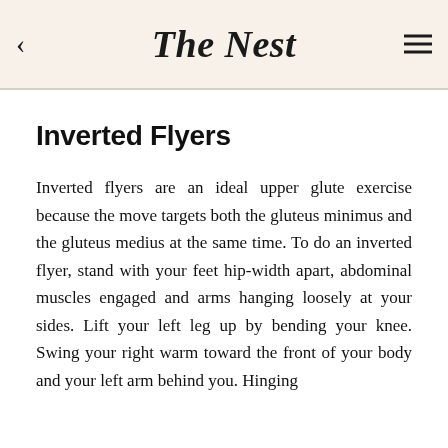The Nest
Inverted Flyers
Inverted flyers are an ideal upper glute exercise because the move targets both the gluteus minimus and the gluteus medius at the same time. To do an inverted flyer, stand with your feet hip-width apart, abdominal muscles engaged and arms hanging loosely at your sides. Lift your left leg up by bending your knee. Swing your right warm toward the front of your body and your left arm behind you. Hinging